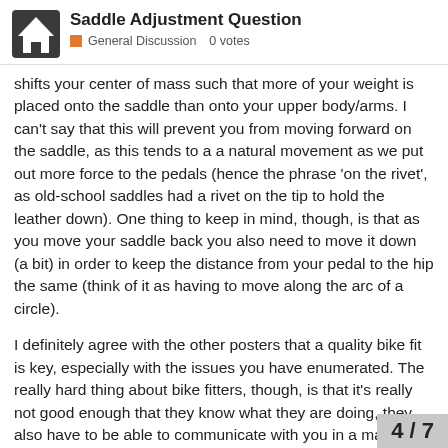Saddle Adjustment Question
General Discussion  0 votes
shifts your center of mass such that more of your weight is placed onto the saddle than onto your upper body/arms. I can't say that this will prevent you from moving forward on the saddle, as this tends to a a natural movement as we put out more force to the pedals (hence the phrase 'on the rivet', as old-school saddles had a rivet on the tip to hold the leather down). One thing to keep in mind, though, is that as you move your saddle back you also need to move it down (a bit) in order to keep the distance from your pedal to the hip the same (think of it as having to move along the arc of a circle).
I definitely agree with the other posters that a quality bike fit is key, especially with the issues you have enumerated. The really hard thing about bike fitters, though, is that it's really not good enough that they know what they are doing, they also have to be able to communicate with you in a manner that makes sense. It's sort of like finding a good doctor, and it might take a few tries. So, if you have a selection of bike fitters in your area I would suggest seeing if you can set up so each of them for a bit and go with the one
4 / 7